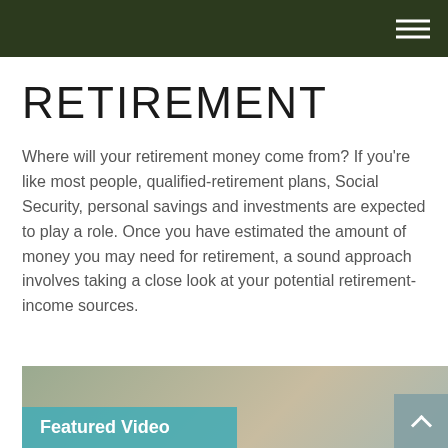RETIREMENT — navigation header with menu icon
RETIREMENT
Where will your retirement money come from? If you're like most people, qualified-retirement plans, Social Security, personal savings and investments are expected to play a role. Once you have estimated the amount of money you may need for retirement, a sound approach involves taking a close look at your potential retirement-income sources.
Featured Video